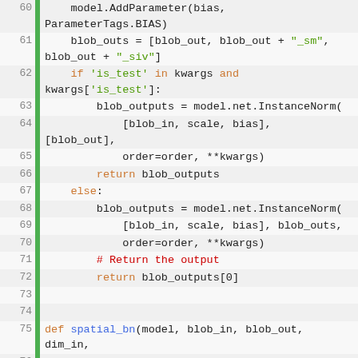[Figure (screenshot): Python source code snippet showing lines 60-83 of a file, with syntax highlighting. Lines include model.AddParameter, blob_outs assignment, if/else blocks with model.net.InstanceNorm calls, return statements, and the beginning of a spatial_bn function definition.]